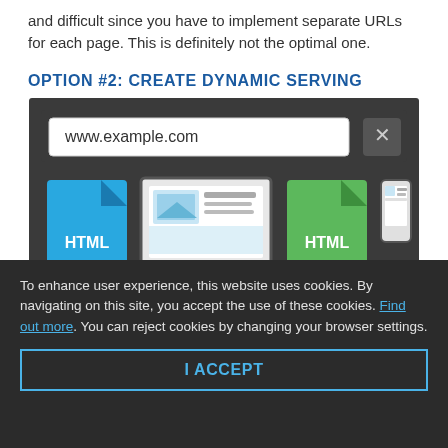and difficult since you have to implement separate URLs for each page. This is definitely not the optimal one.
OPTION #2: CREATE DYNAMIC SERVING
[Figure (illustration): Illustration showing dynamic serving: a browser address bar with www.example.com, below it a blue HTML file icon on the left, a desktop monitor showing a webpage in the center, a green HTML file icon on the right, and a mobile phone on the far right.]
To enhance user experience, this website uses cookies. By navigating on this site, you accept the use of these cookies. Find out more. You can reject cookies by changing your browser settings.
I ACCEPT